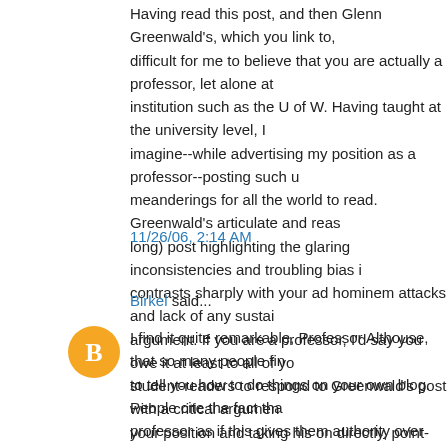Having read this post, and then Glenn Greenwald's, which you link to, difficult for me to believe that you are actually a professor, let alone at institution such as the U of W. Having taught at the university level, I imagine--while advertising my position as a professor--posting such u meanderings for all the world to read. Greenwald's articulate and reas long) post highlighting the glaring inconsistencies and troubling bias i contrasts sharply with your ad hominem attacks and lack of any sustai argument. If you are a professor, I'd say you owe it at least to all of yo student-readers to respond to Greenwald's post with a critical argumen your position and taking his on directly, point-by-point. I don't mean a (and I actually do hope that you can buy that because it's meant sincer comment. It's just dismaying to find someone in your position lowering of any discussion to this level.
11/26/06, 2:14 AM
Birkel said...
[Figure (logo): Orange circle avatar with white blogger 'B' icon]
I find it quite remarkable, Professor Althouse, that so many people fin to tell you how to do things on your own blog. People cite the fact tha professor as if this gives them authority over you.